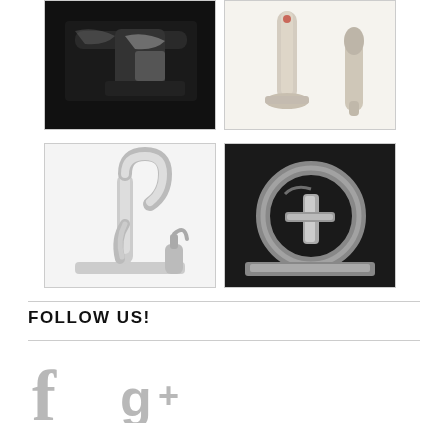[Figure (photo): Top-left: Close-up of a dark black faucet/fixture with chrome accent, dark background.]
[Figure (photo): Top-right: Two-piece champagne/brushed nickel kitchen faucet set with side sprayer on white background.]
[Figure (photo): Bottom-left: Brushed nickel pull-down kitchen faucet with soap dispenser on white background.]
[Figure (photo): Bottom-right: Close-up of a modern chrome/brushed nickel circular faucet design on dark background.]
FOLLOW US!
[Figure (logo): Facebook 'f' icon in gray]
[Figure (logo): Google+ 'g+' icon in gray]